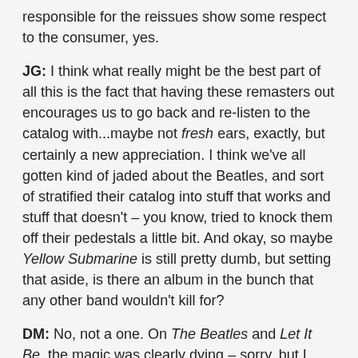responsible for the reissues show some respect to the consumer, yes.
JG: I think what really might be the best part of all this is the fact that having these remasters out encourages us to go back and re-listen to the catalog with...maybe not fresh ears, exactly, but certainly a new appreciation. I think we've all gotten kind of jaded about the Beatles, and sort of stratified their catalog into stuff that works and stuff that doesn't – you know, tried to knock them off their pedestals a little bit. And okay, so maybe Yellow Submarine is still pretty dumb, but setting that aside, is there an album in the bunch that any other band wouldn't kill for?
DM: No, not a one. On The Beatles and Let It Be, the magic was clearly dying – sorry, but I decree that the White Album is overrated – but they still came up with "Helter